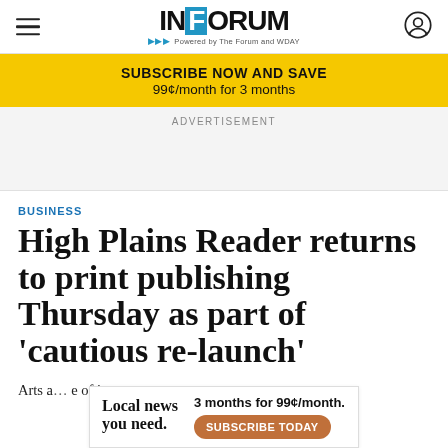InForum — Powered by The Forum and WDAY
SUBSCRIBE NOW AND SAVE
99¢/month for 3 months
ADVERTISEMENT
BUSINESS
High Plains Reader returns to print publishing Thursday as part of 'cautious re-launch'
Arts a… [partial] …e of its co… [partial]
Local news you need.  3 months for 99¢/month.  SUBSCRIBE TODAY